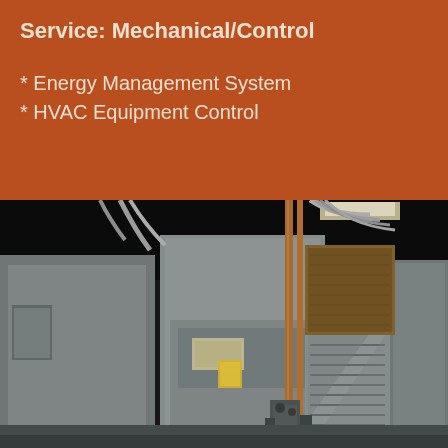Service: Mechanical/Control
* Energy Management System
* HVAC Equipment Control
[Figure (photo): Interior photograph of HVAC mechanical equipment room showing large sheet metal air handling units, copper pipes, steel conduit, and ductwork in an industrial building space with exposed ceiling.]